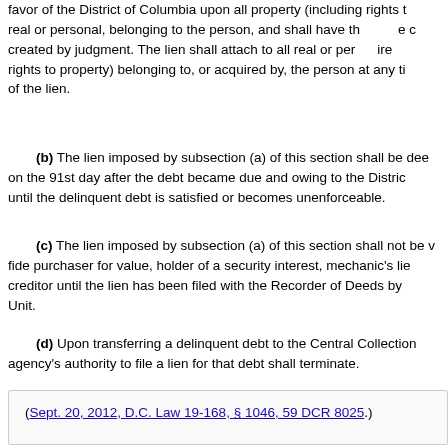favor of the District of Columbia upon all property (including rights to property), real or personal, belonging to the person, and shall have the effect of a judgment created by judgment. The lien shall attach to all real or personal property (including rights to property) belonging to, or acquired by, the person at any time during the life of the lien.
(b) The lien imposed by subsection (a) of this section shall be deemed to arise on the 91st day after the debt became due and owing to the District, and shall continue until the delinquent debt is satisfied or becomes unenforceable.
(c) The lien imposed by subsection (a) of this section shall not be valid against a bona fide purchaser for value, holder of a security interest, mechanic's lienor, or judgment creditor until the lien has been filed with the Recorder of Deeds by the responsible Unit.
(d) Upon transferring a delinquent debt to the Central Collection Unit, the agency's authority to file a lien for that debt shall terminate.
(Sept. 20, 2012, D.C. Law 19-168, § 1046, 59 DCR 8025.)